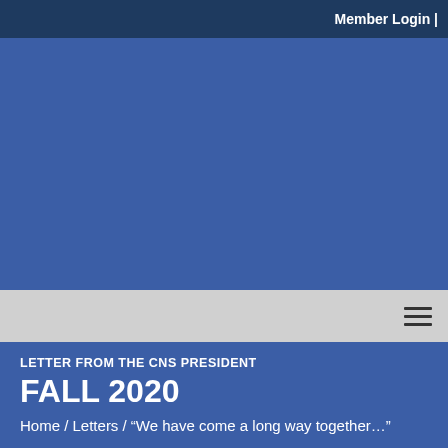Member Login |
[Figure (other): Blue hero banner image area]
LETTER FROM THE CNS PRESIDENT
FALL 2020
Home / Letters / “We have come a long way together…”